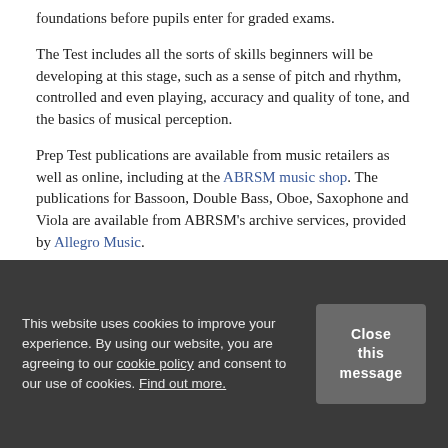foundations before pupils enter for graded exams.
The Test includes all the sorts of skills beginners will be developing at this stage, such as a sense of pitch and rhythm, controlled and even playing, accuracy and quality of tone, and the basics of musical perception.
Prep Test publications are available from music retailers as well as online, including at the ABRSM music shop. The publications for Bassoon, Double Bass, Oboe, Saxophone and Viola are available from ABRSM's archive services, provided by Allegro Music.
Do you teach instruments in groups? Visit our Music Medals website to find out more about our assessments for group-taught learners.
This website uses cookies to improve your experience. By using our website, you are agreeing to our cookie policy and consent to our use of cookies. Find out more.